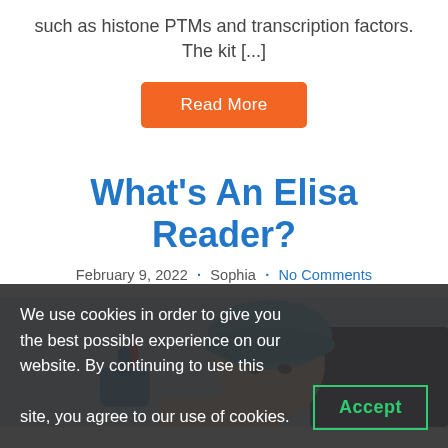such as histone PTMs and transcription factors. The kit [...]
Read More
What's An Elisa Reader?
February 9, 2022 · Sophia · No Comments
[Figure (photo): A scientist wearing a blue hair cap and blue gloves, holding a laboratory sample.]
We use cookies in order to give you the best possible experience on our website. By continuing to use this site, you agree to our use of cookies.
Accept